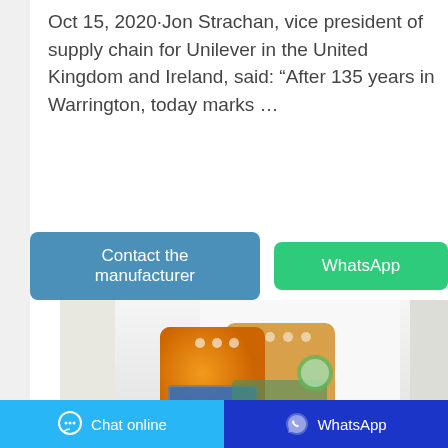Oct 15, 2020·Jon Strachan, vice president of supply chain for Unilever in the United Kingdom and Ireland, said: “After 135 years in Warrington, today marks …
[Figure (other): Two buttons: 'Contact the manufacturer' (blue/teal) and 'WhatsApp' (green)]
[Figure (photo): Product photo showing orange laundry detergent bags/pouches on a white surface with curtains in background]
Chat online    WhatsApp